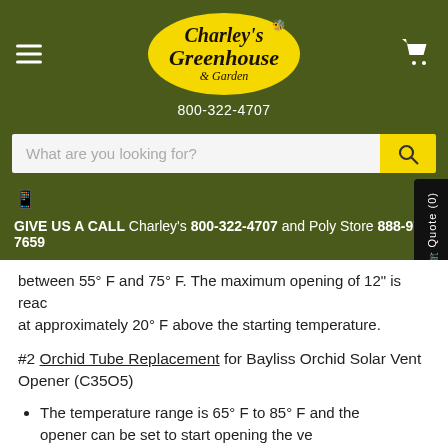[Figure (logo): Charley's Greenhouse & Garden logo - yellow oval with script text, on dark olive green header with hamburger menu and cart icon]
800-322-4707
What are you looking for?
GIVE US A CALL Charley's 800-322-4707 and Poly Store 888-977-7659
between 55° F and 75° F. The maximum opening of 12" is reached at approximately 20° F above the starting temperature.
#2 Orchid Tube Replacement for Bayliss Orchid Solar Vent Opener (C35O5)
The temperature range is 65° F to 85° F and the opener can be set to start opening the vent between 65° F and 85° F. The maximum opening of 12" is reached